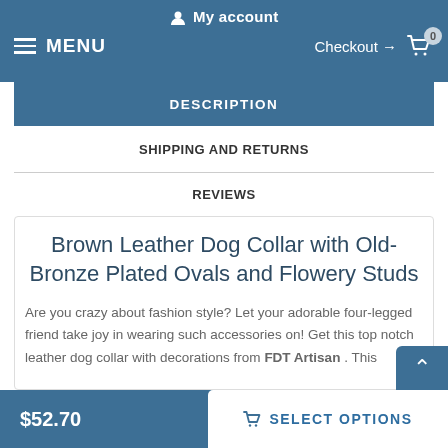My account  MENU  Checkout → 0
DESCRIPTION
SHIPPING AND RETURNS
REVIEWS
Brown Leather Dog Collar with Old-Bronze Plated Ovals and Flowery Studs
Are you crazy about fashion style? Let your adorable four-legged friend take joy in wearing such accessories on! Get this top notch leather dog collar with decorations from FDT Artisan . This
$52.70  SELECT OPTIONS